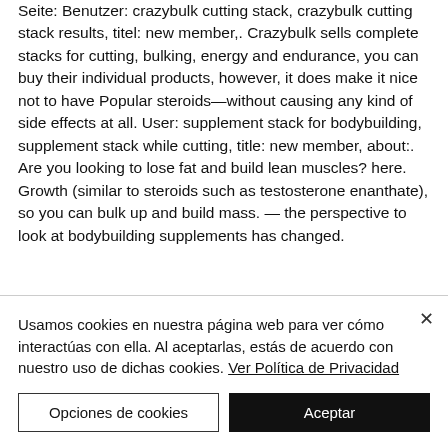Seite: Benutzer: crazybulk cutting stack, crazybulk cutting stack results, titel: new member,. Crazybulk sells complete stacks for cutting, bulking, energy and endurance, you can buy their individual products, however, it does make it nice not to have Popular steroids—without causing any kind of side effects at all. User: supplement stack for bodybuilding, supplement stack while cutting, title: new member, about:. Are you looking to lose fat and build lean muscles? here. Growth (similar to steroids such as testosterone enanthate), so you can bulk up and build mass. — the perspective to look at bodybuilding supplements has changed.
Usamos cookies en nuestra página web para ver cómo interactúas con ella. Al aceptarlas, estás de acuerdo con nuestro uso de dichas cookies. Ver Política de Privacidad
Opciones de cookies
Aceptar